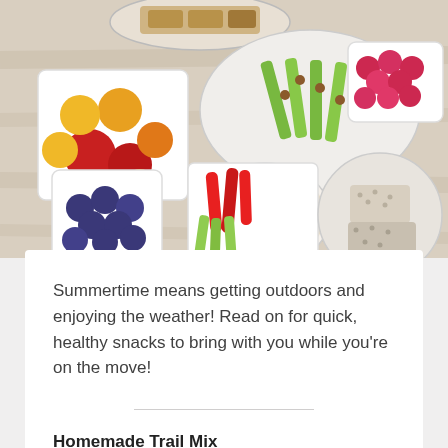[Figure (photo): Overhead view of various healthy snack foods arranged on a white wooden surface, including cherry tomatoes, blueberries, almonds, red pepper strips, celery, a green apple, raspberries, rice cakes, and granola bars.]
Summertime means getting outdoors and enjoying the weather! Read on for quick, healthy snacks to bring with you while you’re on the move!
Homemade Trail Mix
Combine nuts (like cashews, almonds, shelled